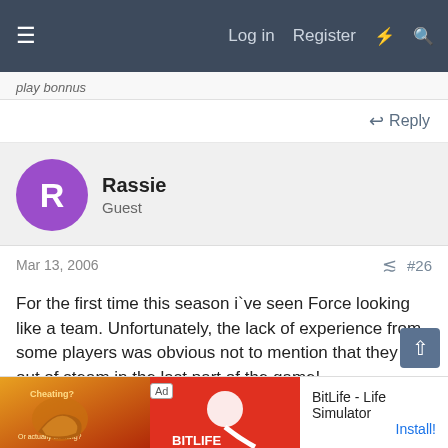≡  Log in  Register  ⚡  🔍
play bonnus
↩ Reply
Rassie
Guest
Mar 13, 2006  #26
For the first time this season i`ve seen Force looking like a team. Unfortunately, the lack of experience from some players was obvious not to mention that they ran out of steam in the last part of the game!
Way too many handling errors from both sides, many open spaces in Reds defence (with a little bit of confidence Force could speculate on that) but, above all this, a
[Figure (screenshot): Ad banner for BitLife - Life Simulator app with Install button]